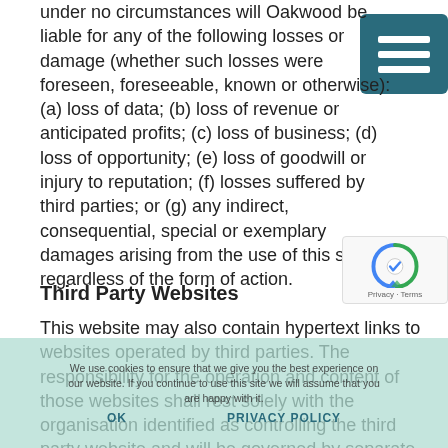under no circumstances will Oakwood be liable for any of the following losses or damage (whether such losses were foreseen, foreseeable, known or otherwise): (a) loss of data; (b) loss of revenue or anticipated profits; (c) loss of business; (d) loss of opportunity; (e) loss of goodwill or injury to reputation; (f) losses suffered by third parties; or (g) any indirect, consequential, special or exemplary damages arising from the use of this site regardless of the form of action.
Third Party Websites
This website may also contain hypertext links to websites operated by third parties. The responsibility for the operation and content of those websites shall rest solely with the organisation identified as controlling the third party website and will be governed by separate terms and conditions. Oakwood provide links for convenience but the inclusion of any link does not imply endorsement in any way of the site to which it links. Oakwood is not responsible for the accuracy of the infomation contained within the sites.